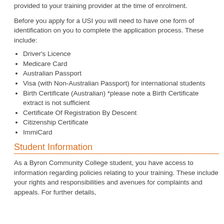provided to your training provider at the time of enrolment.
Before you apply for a USI you will need to have one form of identification on you to complete the application process. These include:
Driver's Licence
Medicare Card
Australian Passport
Visa (with Non-Australian Passport) for international students
Birth Certificate (Australian) *please note a Birth Certificate extract is not sufficient
Certificate Of Registration By Descent
Citizenship Certificate
ImmiCard
Student Information
As a Byron Community College student, you have access to information regarding policies relating to your training. These include your rights and responsibilities and avenues for complaints and appeals. For further details,